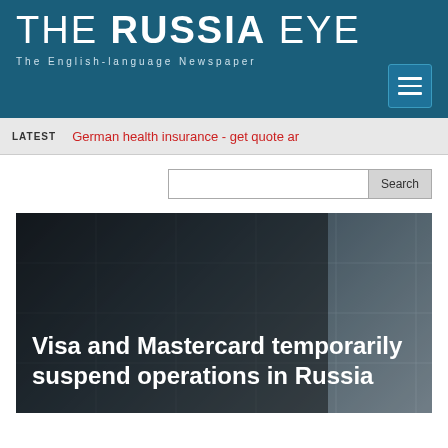THE RUSSIA EYE – The English-language Newspaper
LATEST  German health insurance - get quote ar
[Figure (screenshot): Search bar with text input and Search button]
Visa and Mastercard temporarily suspend operations in Russia